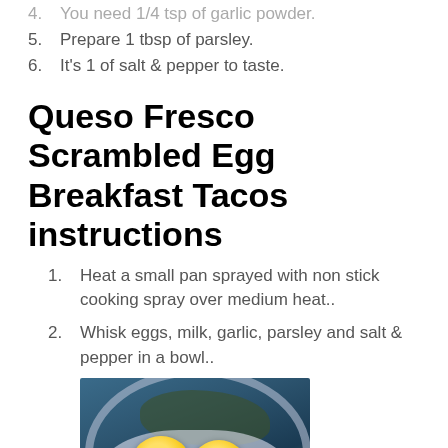4. You need 1/4 tsp of garlic powder.
5. Prepare 1 tbsp of parsley.
6. It's 1 of salt & pepper to taste.
Queso Fresco Scrambled Egg Breakfast Tacos instructions
1. Heat a small pan sprayed with non stick cooking spray over medium heat..
2. Whisk eggs, milk, garlic, parsley and salt & pepper in a bowl..
[Figure (photo): A bowl containing two raw egg yolks with herbs (parsley and pepper) sprinkled on top, sitting in egg whites on a blue surface.]